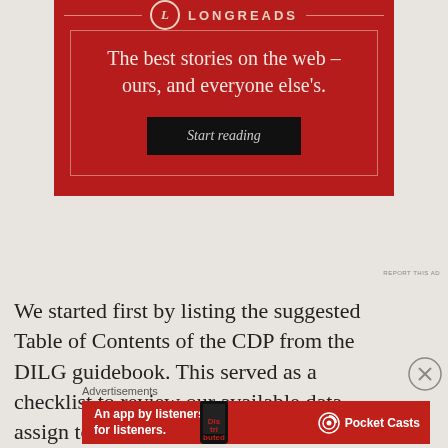[Figure (other): Longreads advertisement banner with dark red background. Contains Longreads logo (circle with L), tagline 'The best stories on the web – ours, and everyone else's.' and a 'Start reading' button.]
We started first by listing the suggested Table of Contents of the CDP from the DILG guidebook. This served as a checklist to review our available data, assign topics to a member,
Advertisements
[Figure (other): Pocket Casts advertisement banner with red background. Text: 'An app by listeners, for listeners.' with Pocket Casts logo.]